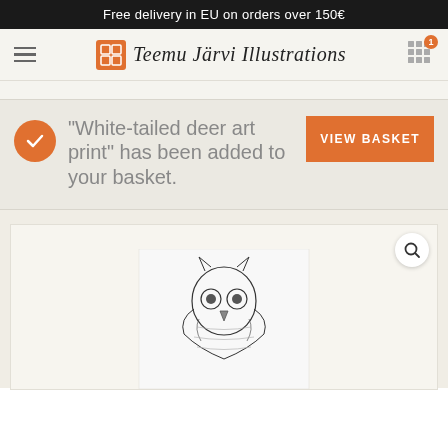Free delivery in EU on orders over 150€
[Figure (logo): Teemu Järvi Illustrations logo with orange TJ icon and cursive text]
“White-tailed deer art print” has been added to your basket.
VIEW BASKET
[Figure (photo): Partial view of an owl illustration art print on white paper background]